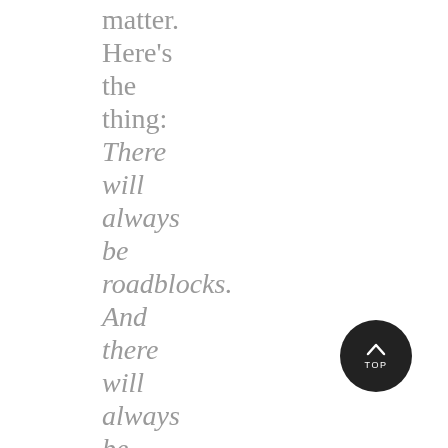that matter. Here's the thing: There will always be roadblocks. And there will always be an easier road
[Figure (other): Dark circular 'TOP' button with upward chevron arrow, used for scroll-to-top navigation]